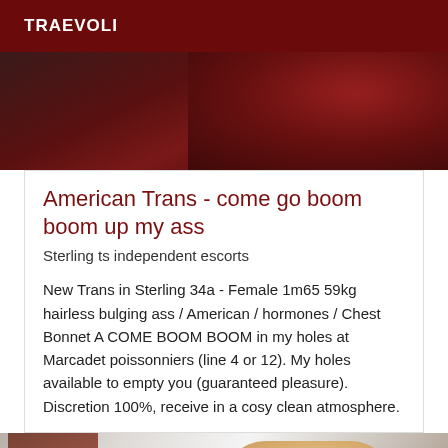TRAEVOLI
[Figure (photo): Partial photo showing dark reddish bedding/background, cropped at top]
American Trans - come go boom boom up my ass
Sterling ts independent escorts
New Trans in Sterling 34a - Female 1m65 59kg hairless bulging ass / American / hormones / Chest Bonnet A COME BOOM BOOM in my holes at Marcadet poissonniers (line 4 or 12). My holes available to empty you (guaranteed pleasure). Discretion 100%, receive in a cosy clean atmosphere.
[Figure (photo): Partial photo showing white bedding and skin/torso, cropped at bottom]